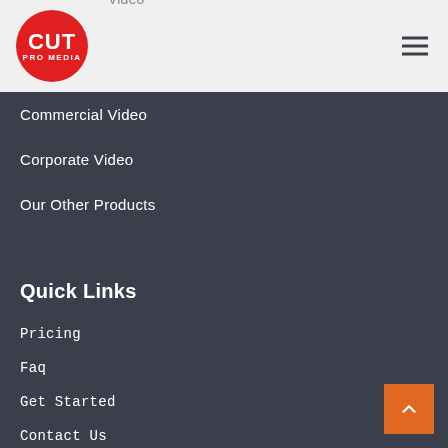[Figure (logo): Cut Pro Media red circular logo with white text CUT PRO MEDIA]
Commercial Video
Corporate Video
Our Other Products
Quick Links
Pricing
Faq
Get Started
Contact Us
Blog